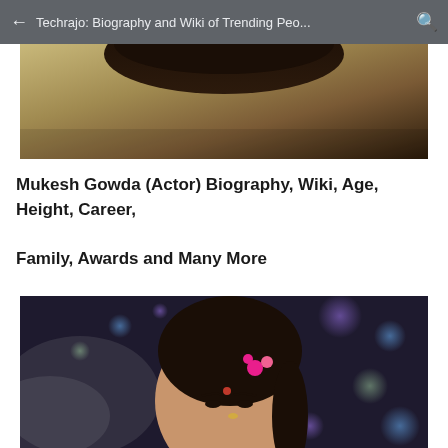Techrajo: Biography and Wiki of Trending Peo...
[Figure (photo): Top portion of a male actor's photo showing forehead and dark hair against a golden-olive background]
Mukesh Gowda (Actor) Biography, Wiki, Age, Height, Career, Family, Awards and Many More
[Figure (photo): Portrait of a woman (Vidula Chougule) with dark hair adorned with pink flowers, bindi on forehead, nose ring, against a blurred purple bokeh background with lights]
Vidula Chougule (Actress) Biography, Wiki, Age, Height, Career, Family, Awards and Many More